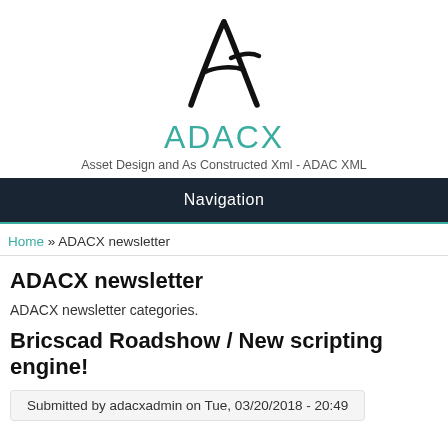[Figure (logo): ADACX logo: stylized letter A in black handwritten/brush style]
ADACX
Asset Design and As Constructed Xml - ADAC XML
Navigation
Home » ADACX newsletter
ADACX newsletter
ADACX newsletter categories.
Bricscad Roadshow / New scripting engine!
Submitted by adacxadmin on Tue, 03/20/2018 - 20:49